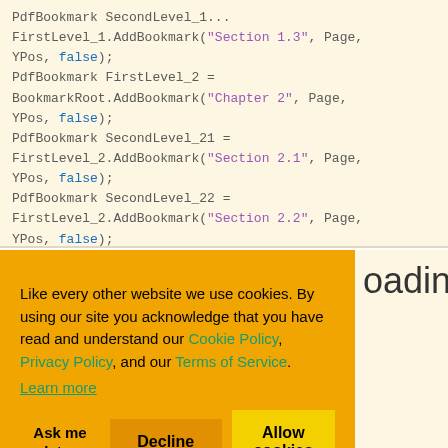PdfBookmark SecondLevel_1...
FirstLevel_1.AddBookmark("Section 1.3", Page, YPos, false);
PdfBookmark FirstLevel_2 = BookmarkRoot.AddBookmark("Chapter 2", Page, YPos, false);
PdfBookmark SecondLevel_21 = FirstLevel_2.AddBookmark("Section 2.1", Page, YPos, false);
PdfBookmark SecondLevel_22 = FirstLevel_2.AddBookmark("Section 2.2", Page, YPos, false);
Like every other website we use cookies. By using our site you acknowledge that you have read and understand our Cookie Policy, Privacy Policy, and our Terms of Service. Learn more
Ask me later
Decline
Allow cookies